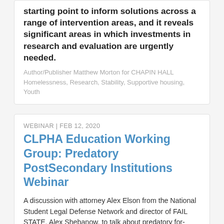starting point to inform solutions across a range of intervention areas, and it reveals significant areas in which investments in research and evaluation are urgently needed.
Author/Publisher Matthew Morton for CHAPIN HALL
Homelessness, Research, Stability, Supportive housing, Youth
WEBINAR | FEB 12, 2020
CLPHA Education Working Group: Predatory PostSecondary Institutions Webinar
A discussion with attorney Alex Elson from the National Student Legal Defense Network and director of FAIL STATE, Alex Shebanow, to talk about predatory for-profit institutions and how that affects low income residents. About the film: Over five years in the making, FAIL STATE investigates the for-profit college industry and the decades-long reports of student loan abuse within the sector. The film's central thesis: aided by a cabal of politicians, nationwide disinvestment in public colleges and universities, and an unscrupulous desire to maximize profits at all costs, for-profit colleges have exploited